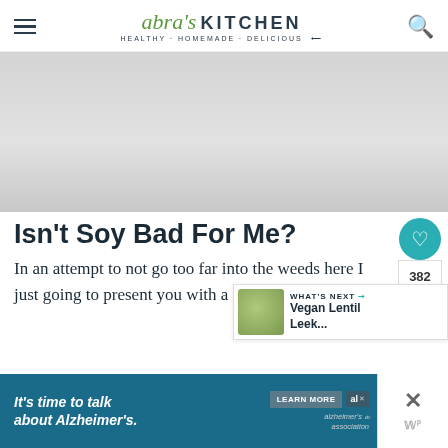Abra's Kitchen — HEALTHY · HOMEMADE · DELICIOUS
[Figure (photo): Light gray hero image placeholder for blog article about soy]
Isn't Soy Bad For Me?
In an attempt to not go too far into the weeds here I just going to present you with a few soy fa...
[Figure (infographic): WHAT'S NEXT arrow, thumbnail of Vegan Lentil Leek dish, text: Vegan Lentil Leek...]
[Figure (infographic): Advertisement: It's time to talk about Alzheimer's. Learn More button. Alzheimer's Association logo. AL badge. Close X button.]